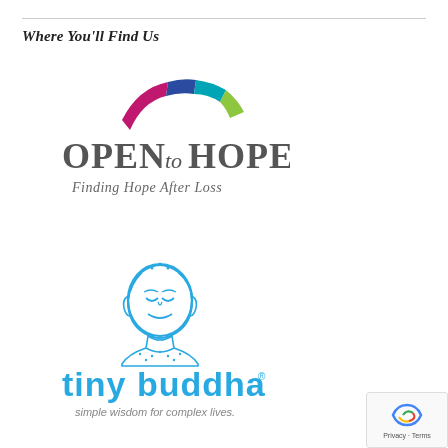Where You'll Find Us
[Figure (logo): Open to Hope logo with colorful arched tiles above the text 'OPEN to HOPE' and subtitle 'Finding Hope After Loss']
[Figure (logo): Tiny Buddha logo with a blue illustrated Buddha head above the text 'tiny buddha' and tagline 'simple wisdom for complex lives.']